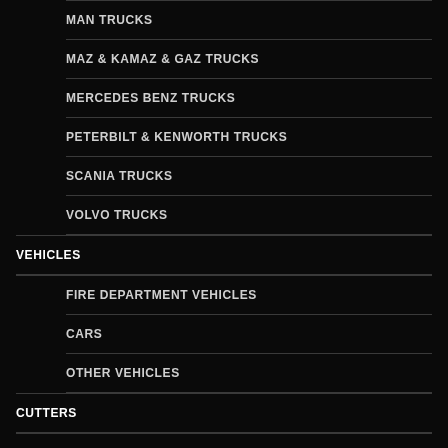MAN TRUCKS
MAZ & KAMAZ & GAZ TRUCKS
MERCEDES BENZ TRUCKS
PETERBILT & KENWORTH TRUCKS
SCANIA TRUCKS
VOLVO TRUCKS
VEHICLES
FIRE DEPARTMENT VEHICLES
CARS
OTHER VEHICLES
CUTTERS
FORKLIFTS & EXCAVATORS